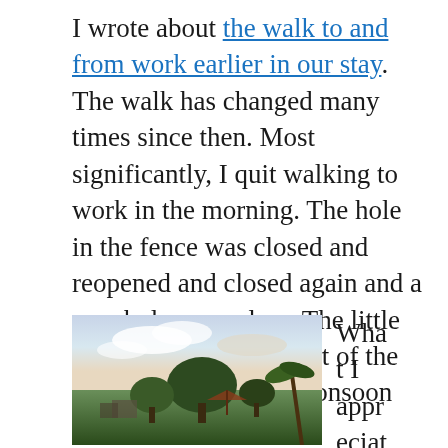I wrote about the walk to and from work earlier in our stay. The walk has changed many times since then. Most significantly, I quit walking to work in the morning. The hole in the fence was closed and reopened and closed again and a new hole opened up. The little farm stopped being part of the walk, first thanks to monsoon inspired mud and then construction. The end result was that it went from a 20 minute bit of bliss to an hour and fifteen minute, at times contentious little slice of India.
[Figure (photo): Outdoor photo showing trees and vegetation silhouetted against a partly cloudy sky at dusk or dawn, with some structures visible in the background.]
What I appreciat